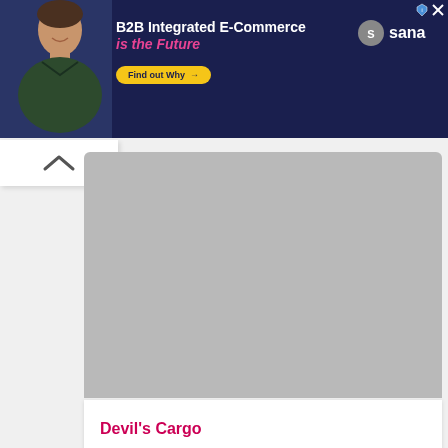[Figure (illustration): Sana Commerce B2B Integrated E-Commerce advertisement banner with a smiling man, text 'B2B Integrated E-Commerce is the Future', Find out Why button, and Sana logo on dark navy background]
[Figure (other): Collapse/minimize chevron up button area in white box]
[Figure (other): Gray placeholder image area for Devil's Cargo movie/product card]
Devil's Cargo
[Figure (photo): Partial view of a second card showing a beach/coastal scene at the bottom of the page]